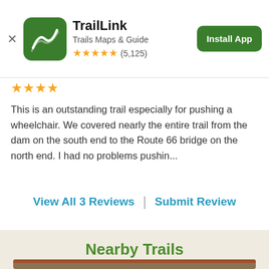[Figure (screenshot): App banner: TrailLink app icon (green square with white trail/path logo), app name 'TrailLink', subtitle 'Trails Maps & Guide', 5-star rating '(5,125)', and 'Install App' green button]
★★★★★
This is an outstanding trail especially for pushing a wheelchair. We covered nearly the entire trail from the dam on the south end to the Route 66 bridge on the north end. I had no problems pushin...
View All 3 Reviews  |  Submit Review
Nearby Trails
[Figure (photo): Photo of a wooden trestle bridge/trail over a rural landscape with trees, partially visible at bottom of page]